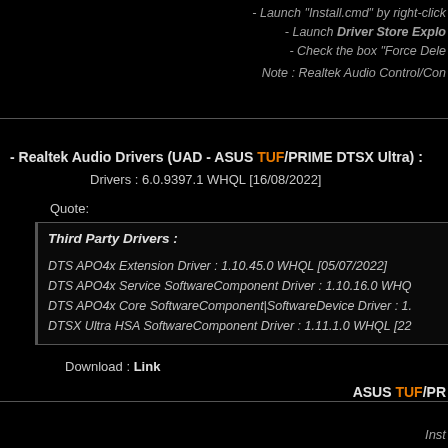- Launch "Install.cmd" by right-click
- Launch Driver Store Explo
- Check the box "Force Dele
Note : Realtek Audio Control/Con
- Realtek Audio Drivers (UAD - ASUS TUF/PRIME DTSX Ultra) : Drivers : 6.0.9397.1 WHQL [16/08/2022]
Quote:
Third Party Drivers :
DTS APO4x Extension Driver : 1.10.45.0 WHQL [05/07/2022]
DTS APO4x Service SoftwareComponent Driver : 1.10.16.0 WHQ
DTS APO4x Core SoftwareComponent|SoftwareDevice Driver : 1.
DTSX Ultra HSA SoftwareComponent Driver : 1.11.1.0 WHQL [22
Download : Link
ASUS TUF/PR
Inst